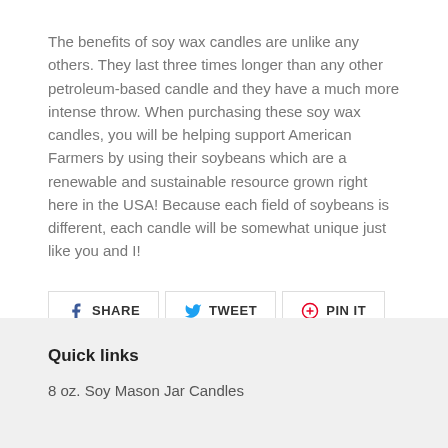The benefits of soy wax candles are unlike any others. They last three times longer than any other petroleum-based candle and they have a much more intense throw. When purchasing these soy wax candles, you will be helping support American Farmers by using their soybeans which are a renewable and sustainable resource grown right here in the USA! Because each field of soybeans is different, each candle will be somewhat unique just like you and I!
[Figure (other): Social share buttons: SHARE (Facebook), TWEET (Twitter), PIN IT (Pinterest)]
Quick links
8 oz. Soy Mason Jar Candles